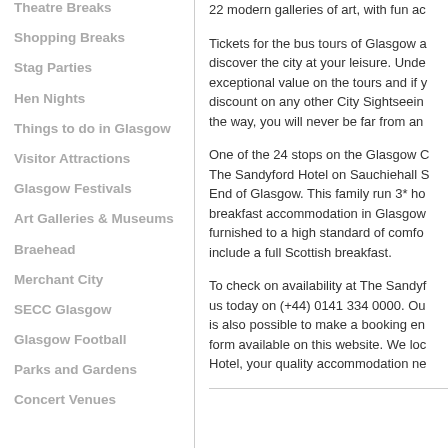Theatre Breaks
Shopping Breaks
Stag Parties
Hen Nights
Things to do in Glasgow
Visitor Attractions
Glasgow Festivals
Art Galleries & Museums
Braehead
Merchant City
SECC Glasgow
Glasgow Football
Parks and Gardens
Concert Venues
22 modern galleries of art, with fun ac…
Tickets for the bus tours of Glasgow a… discover the city at your leisure. Unde… exceptional value on the tours and if y… discount on any other City Sightseein… the way, you will never be far from an…
One of the 24 stops on the Glasgow C… The Sandyford Hotel on Sauchiehall S… End of Glasgow. This family run 3* ho… breakfast accommodation in Glasgow… furnished to a high standard of comfo… include a full Scottish breakfast.
To check on availability at The Sandyf… us today on (+44) 0141 334 0000. Ou… is also possible to make a booking en… form available on this website. We loc… Hotel, your quality accommodation ne…